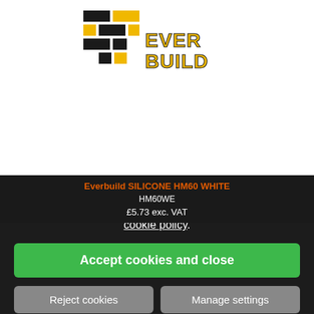[Figure (logo): Everbuild logo — black and yellow brick-pattern graphic with 'EVERBUILD' text]
Everbuild SILICONE HM60 WHITE
HM60WE
£5.73 exc. VAT
Our site uses cookies. For more information, see our cookie policy.
Accept cookies and close
Reject cookies
Manage settings